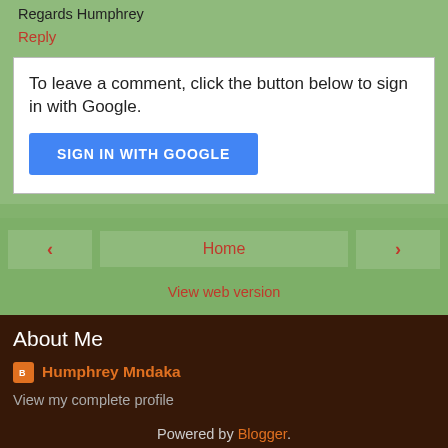Regards Humphrey
Reply
To leave a comment, click the button below to sign in with Google.
SIGN IN WITH GOOGLE
Home
View web version
About Me
Humphrey Mndaka
View my complete profile
Powered by Blogger.